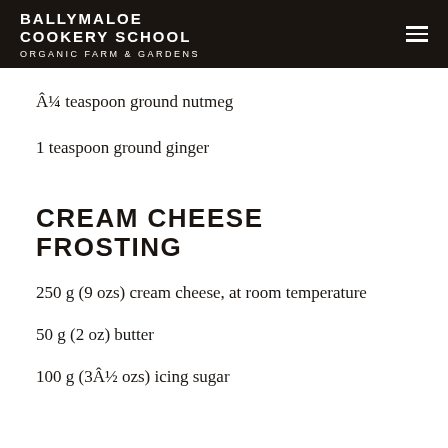BALLYMALOE COOKERY SCHOOL ORGANIC FARM & GARDENS
Â¼ teaspoon ground nutmeg
1 teaspoon ground ginger
CREAM CHEESE FROSTING
250 g (9 ozs) cream cheese, at room temperature
50 g (2 oz) butter
100 g (3Â½ ozs) icing sugar